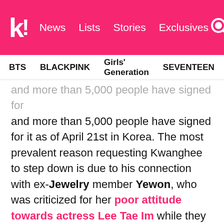k! News Lists Stories Exclusives
BTS BLACKPINK Girls' Generation SEVENTEEN TWICE
and more than 5,000 people have signed for it as of April 21st in Korea. The most prevalent reason requesting Kwanghee to step down is due to his connection with ex-Jewelry member Yewon, who was criticized for her poor attitude towards actress Lee Tae Im while they filmed for MBC's Tutoring Through Generations.
Netizens commented that due to having a close connection to Yewon in addition to being under the same agency, Kwanghee's attitude could cause problems eventually. Voices grew as some added that Yewon never apologized genuinely and continued to appear shamelessly